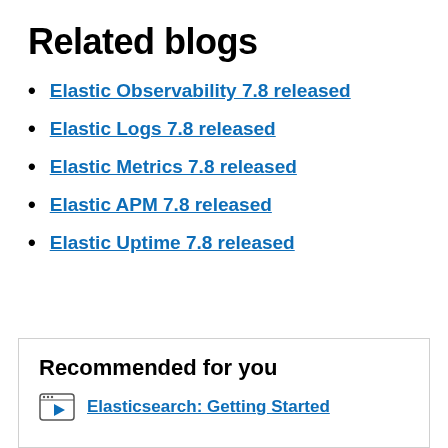Related blogs
Elastic Observability 7.8 released
Elastic Logs 7.8 released
Elastic Metrics 7.8 released
Elastic APM 7.8 released
Elastic Uptime 7.8 released
Recommended for you
Elasticsearch: Getting Started